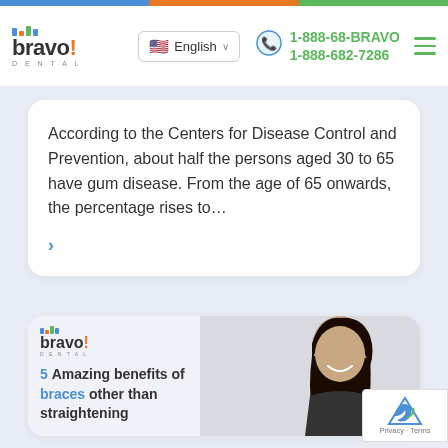Bravo! Dental — 1-888-68-BRAVO / 1-888-682-7286
According to the Centers for Disease Control and Prevention, about half the persons aged 30 to 65 have gum disease. From the age of 65 onwards, the percentage rises to…
>
[Figure (photo): Young woman smiling wearing dental braces, next to Bravo Dental logo and text reading '5 Amazing benefits of braces other than straightening']